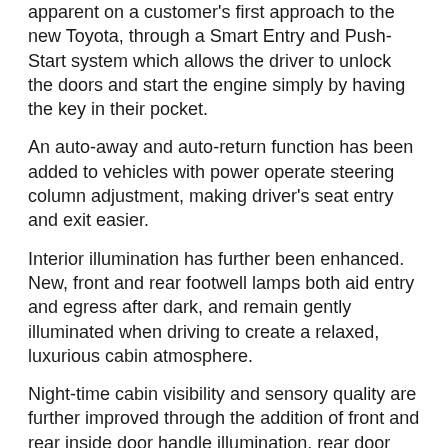apparent on a customer's first approach to the new Toyota, through a Smart Entry and Push-Start system which allows the driver to unlock the doors and start the engine simply by having the key in their pocket.
An auto-away and auto-return function has been added to vehicles with power operate steering column adjustment, making driver's seat entry and exit easier.
Interior illumination has further been enhanced. New, front and rear footwell lamps both aid entry and egress after dark, and remain gently illuminated when driving to create a relaxed, luxurious cabin atmosphere.
Night-time cabin visibility and sensory quality are further improved through the addition of front and rear inside door handle illumination, rear door switch panel lights and, mirroring the gear shift lever illumination, a rear armrest control panel light. Rear seat reading lamps are now also fitted as standard across the model range.